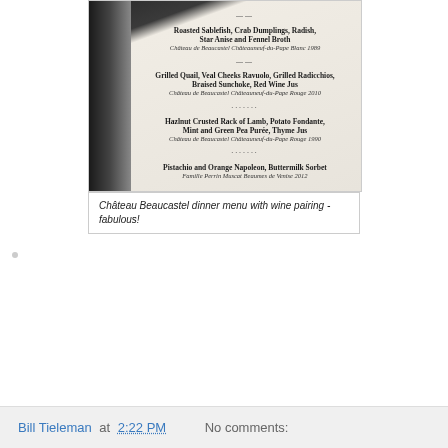[Figure (photo): Photograph of a Château Beaucastel dinner menu with wine pairings, showing several courses including Roasted Sablefish with Crab Dumplings, Grilled Quail, Hazlenut Crusted Rack of Lamb, and Pistachio and Orange Napoleon with Buttermilk Sorbet, each paired with a Château Beaucastel wine.]
Château Beaucastel dinner menu with wine pairing - fabulous!
Bill Tieleman at 2:22 PM    No comments: